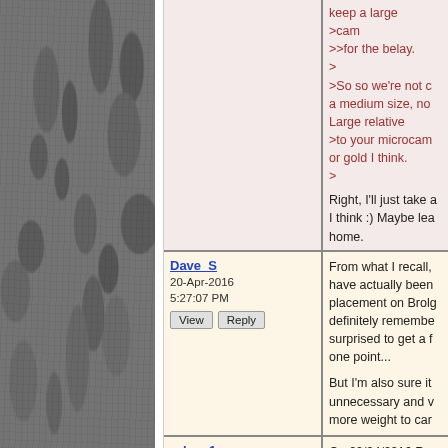[Figure (photo): Stone or rock texture panel on the left side of the page, grey granular surface]
keep a large
>cam
>>for the belay.
>
>So so we're not c a medium size, no Large relative
>to your microcam or gold I think.
>

Right, I'll just take a I think :) Maybe lea home.
Dave_S
20-Apr-2016
5:27:07 PM
[View] [Reply]

From what I recall, have actually been placement on Brolg definitely remembe surprised to get a f one point...

But I'm also sure it unnecessary and v more weight to car
rolsen1
22-Apr-2016
7:27:45 PM
[View] [Reply]

On 20/04/2016 Ra wrote:
>On 20/04/2016 gt
>>On 20/04/2016 D wrote: